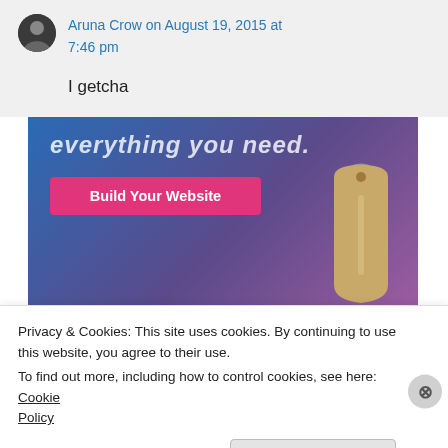Aruna Crow on August 19, 2015 at 7:46 pm
I getcha
[Figure (illustration): Advertisement banner with gradient blue-purple background, tagline 'everything you need.', a pink 'Build Your Website' button, and a decorative luggage tag image.]
Privacy & Cookies: This site uses cookies. By continuing to use this website, you agree to their use.
To find out more, including how to control cookies, see here: Cookie Policy
Close and accept